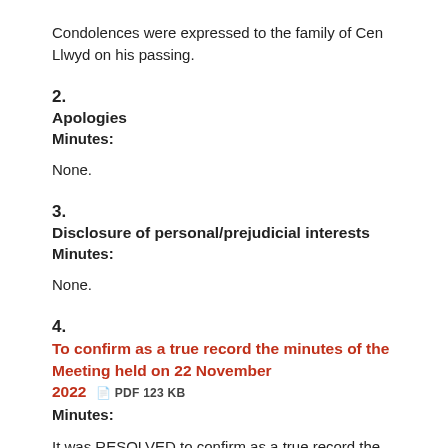Condolences were expressed to the family of Cen Llwyd on his passing.
2.
Apologies
Minutes:
None.
3.
Disclosure of personal/prejudicial interests
Minutes:
None.
4.
To confirm as a true record the minutes of the Meeting held on 22 November 2022  PDF 123 KB
Minutes:
It was RESOLVED to confirm as a true record the minutes of the meeting held on the 22 November 2022.